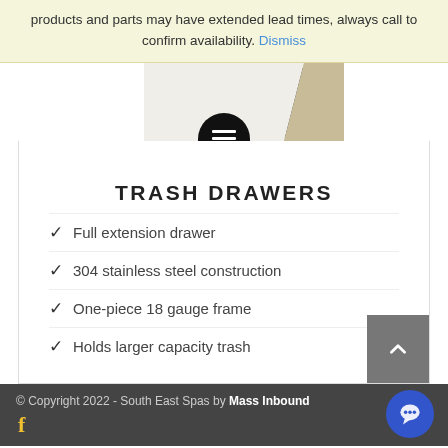products and parts may have extended lead times, always call to confirm availability. Dismiss
[Figure (photo): Partial product image of a trash drawer unit, showing corner of a stainless steel drawer with beige/champagne frame.]
TRASH DRAWERS
Full extension drawer
304 stainless steel construction
One-piece 18 gauge frame
Holds larger capacity trash
© Copyright 2022 - South East Spas by Mass Inbound